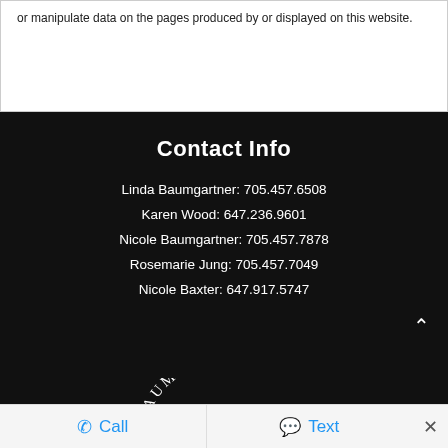or manipulate data on the pages produced by or displayed on this website.
Contact Info
Linda Baumgartner: 705.457.6508
Karen Wood: 647.236.9601
Nicole Baumgartner: 705.457.7878
Rosemarie Jung: 705.457.7049
Nicole Baxter: 647.917.5747
[Figure (logo): Baumgartner logo with arched text and stylized B/R monogram]
Call   Text   ×